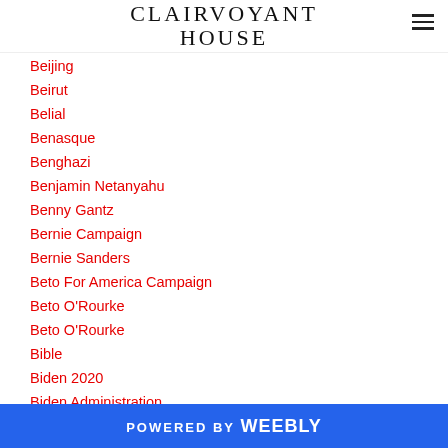CLAIRVOYANT HOUSE
Beijing
Beirut
Belial
Benasque
Benghazi
Benjamin Netanyahu
Benny Gantz
Bernie Campaign
Bernie Sanders
Beto For America Campaign
Beto O'Rourke
Beto O'Rourke
Bible
Biden 2020
Biden Administration
POWERED BY weebly